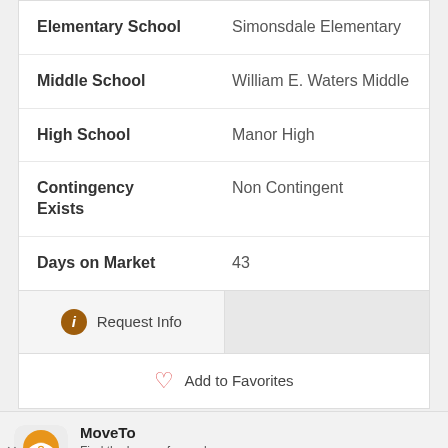| Field | Value |
| --- | --- |
| Elementary School | Simonsdale Elementary |
| Middle School | William E. Waters Middle |
| High School | Manor High |
| Contingency Exists | Non Contingent |
| Days on Market | 43 |
Request Info
Add to Favorites
MoveTo
Find the home of your dreams.
★★★★☆
Use App